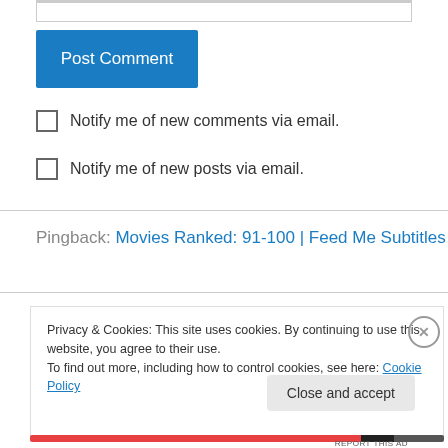Post Comment
Notify me of new comments via email.
Notify me of new posts via email.
Pingback: Movies Ranked: 91-100 | Feed Me Subtitles
Privacy & Cookies: This site uses cookies. By continuing to use this website, you agree to their use. To find out more, including how to control cookies, see here: Cookie Policy
Close and accept